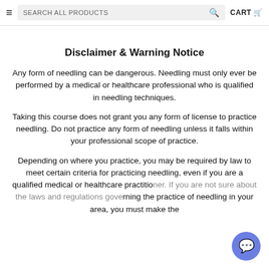≡  SEARCH ALL PRODUCTS 🔍  CART 🗑
Disclaimer & Warning Notice
Any form of needling can be dangerous. Needling must only ever be performed by a medical or healthcare professional who is qualified in needling techniques.
Taking this course does not grant you any form of license to practice needling. Do not practice any form of needling unless it falls within your professional scope of practice.
Depending on where you practice, you may be required by law to meet certain criteria for practicing needling, even if you are a qualified medical or healthcare practitioner. If you are not sure about the laws and regulations governing the practice of needling in your area, you must make the...